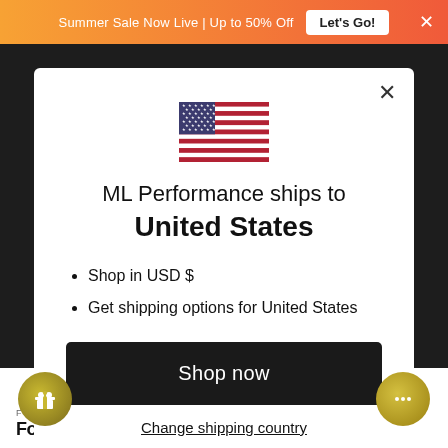Summer Sale Now Live | Up to 50% Off   Let's Go!
[Figure (illustration): US flag emoji/icon centered in modal]
ML Performance ships to United States
Shop in USD $
Get shipping options for United States
Shop now
Change shipping country
FORGE
Forge BMW N20 F10 F20 F22 F30